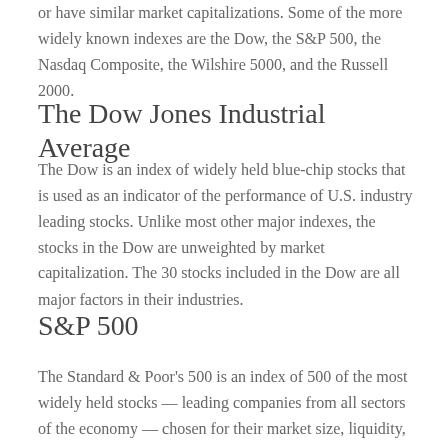or have similar market capitalizations. Some of the more widely known indexes are the Dow, the S&P 500, the Nasdaq Composite, the Wilshire 5000, and the Russell 2000.
The Dow Jones Industrial Average
The Dow is an index of widely held blue-chip stocks that is used as an indicator of the performance of U.S. industry leading stocks. Unlike most other major indexes, the stocks in the Dow are unweighted by market capitalization. The 30 stocks included in the Dow are all major factors in their industries.
S&P 500
The Standard & Poor's 500 is an index of 500 of the most widely held stocks — leading companies from all sectors of the economy — chosen for their market size, liquidity, and industry group representation. Because some stocks influence the market more